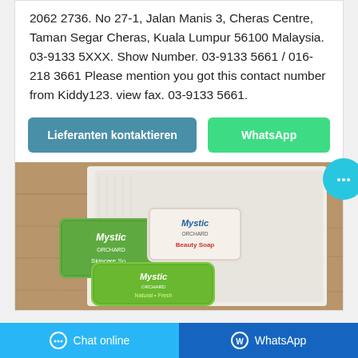2062 2736. No 27-1, Jalan Manis 3, Cheras Centre, Taman Segar Cheras, Kuala Lumpur 56100 Malaysia. 03-9133 5XXX. Show Number. 03-9133 5661 / 016-218 3661 Please mention you got this contact number from Kiddy123. view fax. 03-9133 5661.
[Figure (photo): Product photo showing three Mystic Orchard branded soap bars (Skincare Soap, Beauty Soap, and a green variant) arranged on a white folded towel with a wooden surface background.]
Chat online    WhatsApp